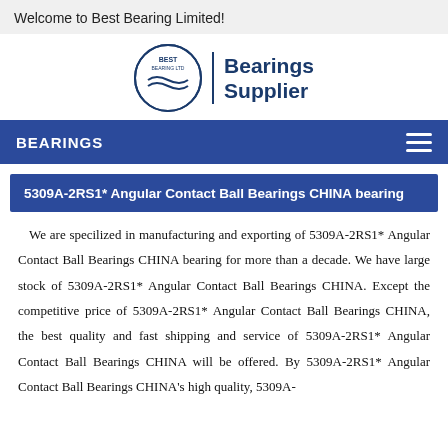Welcome to Best Bearing Limited!
[Figure (logo): Best Bearing Ltd circular logo with wave design, followed by vertical divider and text 'Bearings Supplier' in bold dark blue]
BEARINGS
5309A-2RS1* Angular Contact Ball Bearings CHINA bearing
We are specilized in manufacturing and exporting of 5309A-2RS1* Angular Contact Ball Bearings CHINA bearing for more than a decade. We have large stock of 5309A-2RS1* Angular Contact Ball Bearings CHINA. Except the competitive price of 5309A-2RS1* Angular Contact Ball Bearings CHINA, the best quality and fast shipping and service of 5309A-2RS1* Angular Contact Ball Bearings CHINA will be offered. By 5309A-2RS1* Angular Contact Ball Bearings CHINA's high quality, 5309A-